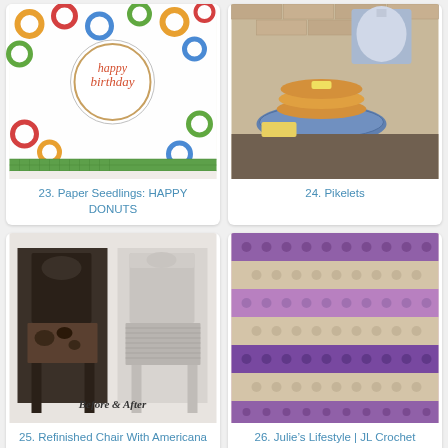[Figure (photo): Happy Birthday card with colorful donut pattern and green gingham ribbon]
23. Paper Seedlings: HAPPY DONUTS
[Figure (photo): Stack of pikelets on a blue and white plate with a teapot in background]
24. Pikelets
[Figure (photo): Before and after photo of a refinished chair with Americana Chalk Paint]
25. Refinished Chair With Americana Chalk Paint - Our Crafty Mom
[Figure (photo): Close-up of purple and beige crochet pattern]
26. Julie’s Lifestyle | JL Crochet Projects | Pinterest